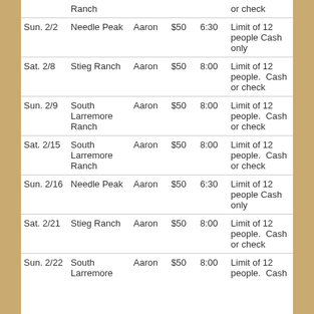| Date | Location | Guide | Price | Time | Notes |
| --- | --- | --- | --- | --- | --- |
|  | Ranch |  |  |  | or check |
| Sun. 2/2 | Needle Peak | Aaron | $50 | 6:30 | Limit of 12 people Cash only |
| Sat. 2/8 | Stieg Ranch | Aaron | $50 | 8:00 | Limit of 12 people.  Cash or check |
| Sun. 2/9 | South Larremore Ranch | Aaron | $50 | 8:00 | Limit of 12 people.  Cash or check |
| Sat. 2/15 | South Larremore Ranch | Aaron | $50 | 8:00 | Limit of 12 people.  Cash or check |
| Sun. 2/16 | Needle Peak | Aaron | $50 | 6:30 | Limit of 12 people Cash only |
| Sat. 2/21 | Stieg Ranch | Aaron | $50 | 8:00 | Limit of 12 people.  Cash or check |
| Sun. 2/22 | South Larremore | Aaron | $50 | 8:00 | Limit of 12 people.  Cash |